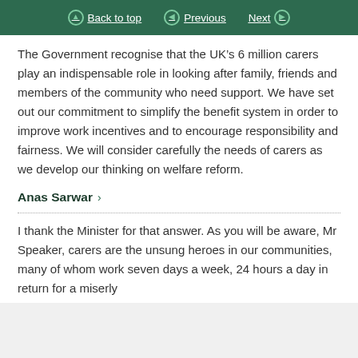Back to top | Previous | Next
The Government recognise that the UK’s 6 million carers play an indispensable role in looking after family, friends and members of the community who need support. We have set out our commitment to simplify the benefit system in order to improve work incentives and to encourage responsibility and fairness. We will consider carefully the needs of carers as we develop our thinking on welfare reform.
Anas Sarwar
I thank the Minister for that answer. As you will be aware, Mr Speaker, carers are the unsung heroes in our communities, many of whom work seven days a week, 24 hours a day in return for a miserly